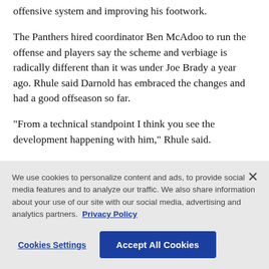offensive system and improving his footwork.
The Panthers hired coordinator Ben McAdoo to run the offense and players say the scheme and verbiage is radically different than it was under Joe Brady a year ago. Rhule said Darnold has embraced the changes and had a good offseason so far.
“From a technical standpoint I think you see the development happening with him,” Rhule said.
Darnold looked sharp throwing passes at practice
We use cookies to personalize content and ads, to provide social media features and to analyze our traffic. We also share information about your use of our site with our social media, advertising and analytics partners.  Privacy Policy
Cookies Settings
Accept All Cookies